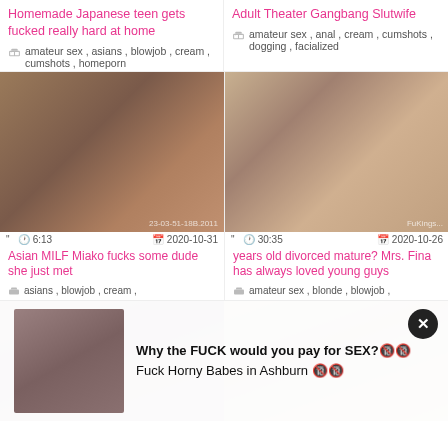Homemade Japanese teen gets fucked really hard at home
amateur sex , asians , blowjob , cream , cumshots , homeporn
Adult Theater Gangbang Slutwife
amateur sex , anal , cream , cumshots , dogging , facialized
[Figure (photo): Video thumbnail showing adult content, timestamp 6:13, date 2020-10-31]
Asian MILF Miako fucks some dude she just met
asians , blowjob , cream ,
[Figure (photo): Video thumbnail showing adult content, timestamp 30:35, date 2020-10-26]
years old divorced mature? Mrs. Fina has always loved young guys
amateur sex , blonde , blowjob ,
[Figure (photo): Partial thumbnail bottom left]
[Figure (photo): Partial thumbnail bottom right]
Why the FUCK would you pay for SEX?🔞🔞 Fuck Horny Babes in Ashburn 🔞🔞